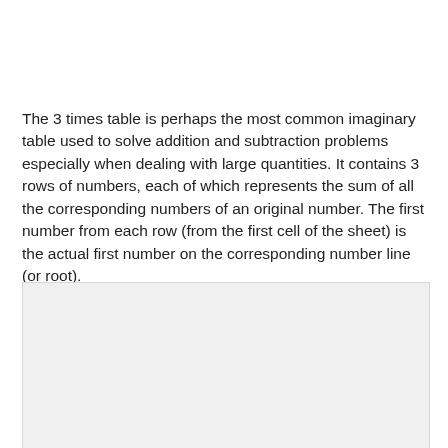The 3 times table is perhaps the most common imaginary table used to solve addition and subtraction problems especially when dealing with large quantities. It contains 3 rows of numbers, each of which represents the sum of all the corresponding numbers of an original number. The first number from each row (from the first cell of the sheet) is the actual first number on the corresponding number line (or root).
[Figure (other): A light gray rectangular area, partially visible, representing an image or worksheet content below the text.]